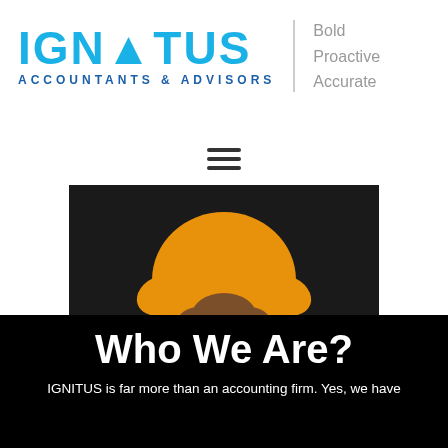[Figure (logo): IGNITUS Accountants & Advisors logo with taglines Bold, Proactive, Accurate]
[Figure (illustration): Circular illustration showing a person in orange jacket with black shoes, viewed from above or mid-body, inside a dark circle]
Who We Are?
IGNITUS is far more than an accounting firm. Yes, we have